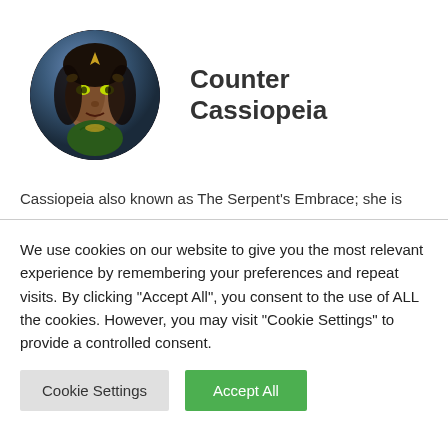[Figure (illustration): Circular avatar image of Cassiopeia, a League of Legends champion with green eyes, dark hair with gold headpiece, snake-like features, set against a dark background]
Counter Cassiopeia
Cassiopeia also known as The Serpent's Embrace; she is
We use cookies on our website to give you the most relevant experience by remembering your preferences and repeat visits. By clicking "Accept All", you consent to the use of ALL the cookies. However, you may visit "Cookie Settings" to provide a controlled consent.
Cookie Settings
Accept All